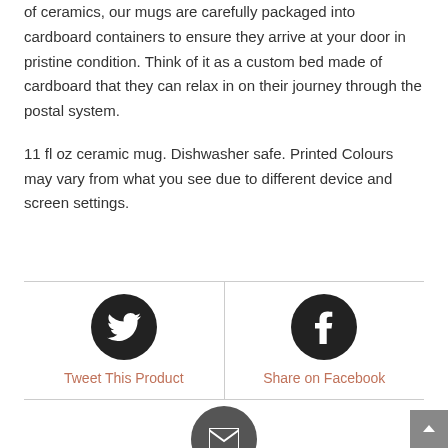of ceramics, our mugs are carefully packaged into cardboard containers to ensure they arrive at your door in pristine condition. Think of it as a custom bed made of cardboard that they can relax in on their journey through the postal system.
11 fl oz ceramic mug. Dishwasher safe. Printed Colours may vary from what you see due to different device and screen settings.
[Figure (other): Tweet This Product button with Twitter bird icon in dark circle]
[Figure (other): Share on Facebook button with Facebook f icon in dark circle]
[Figure (other): Email share button with envelope icon in dark circle (partially visible)]